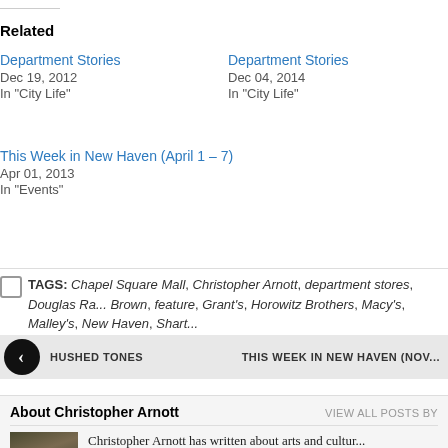Related
Department Stories
Dec 19, 2012
In "City Life"
Department Stories
Dec 04, 2014
In "City Life"
This Week in New Haven (April 1 – 7)
Apr 01, 2013
In "Events"
TAGS: Chapel Square Mall, Christopher Arnott, department stores, Douglas Ra... Brown, feature, Grant's, Horowitz Brothers, Macy's, Malley's, New Haven, Shart...
HUSHED TONES    THIS WEEK IN NEW HAVEN (NOV...
About Christopher Arnott
VIEW ALL POSTS BY
Christopher Arnott has written about arts and cultur...